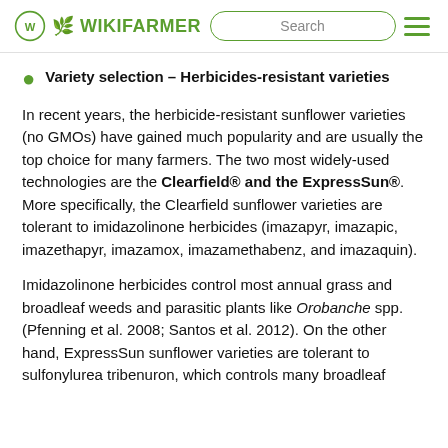WIKIFARMER | Search
Variety selection – Herbicides-resistant varieties
In recent years, the herbicide-resistant sunflower varieties (no GMOs) have gained much popularity and are usually the top choice for many farmers. The two most widely-used technologies are the Clearfield® and the ExpressSun®. More specifically, the Clearfield sunflower varieties are tolerant to imidazolinone herbicides (imazapyr, imazapic, imazethapyr, imazamox, imazamethabenz, and imazaquin).
Imidazolinone herbicides control most annual grass and broadleaf weeds and parasitic plants like Orobanche spp. (Pfenning et al. 2008; Santos et al. 2012). On the other hand, ExpressSun sunflower varieties are tolerant to sulfonylurea tribenuron, which controls many broadleaf